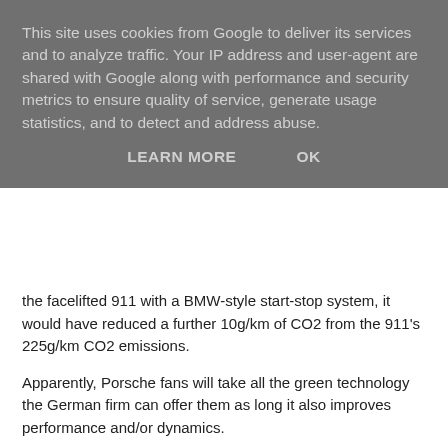This site uses cookies from Google to deliver its services and to analyze traffic. Your IP address and user-agent are shared with Google along with performance and security metrics to ensure quality of service, generate usage statistics, and to detect and address abuse.
LEARN MORE   OK
the facelifted 911 with a BMW-style start-stop system, it would have reduced a further 10g/km of CO2 from the 911's 225g/km CO2 emissions.
Apparently, Porsche fans will take all the green technology the German firm can offer them as long it also improves performance and/or dynamics.
at 6:18 pm   No comments:
Share
'09 RX350 becomes two-faced!